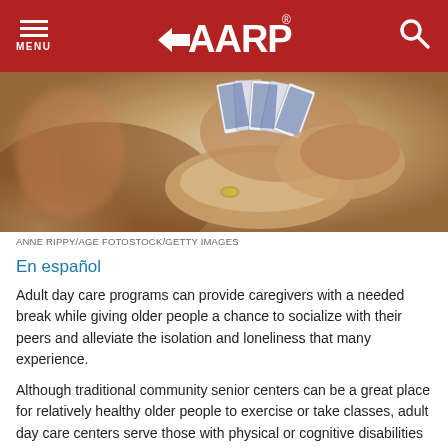AARP — MENU / Search
[Figure (photo): Close-up photo of elderly hands holding playing cards, with another person visible in the background, also holding cards. The scene suggests a card game.]
ANNE RIPPY/AGE FOTOSTOCK/GETTY IMAGES
En español
Adult day care programs can provide caregivers with a needed break while giving older people a chance to socialize with their peers and alleviate the isolation and loneliness that many experience.
Although traditional community senior centers can be a great place for relatively healthy older people to exercise or take classes, adult day care centers serve those with physical or cognitive disabilities who may need more supervision and services. More than half of older